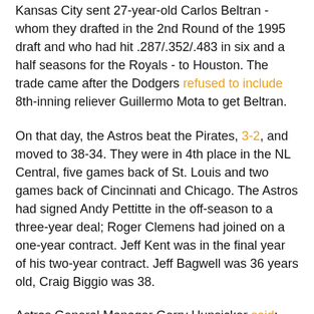Kansas City sent 27-year-old Carlos Beltran - whom they drafted in the 2nd Round of the 1995 draft and who had hit .287/.352/.483 in six and a half seasons for the Royals - to Houston. The trade came after the Dodgers refused to include 8th-inning reliever Guillermo Mota to get Beltran.
On that day, the Astros beat the Pirates, 3-2, and moved to 38-34. They were in 4th place in the NL Central, five games back of St. Louis and two games back of Cincinnati and Chicago. The Astros had signed Andy Pettitte in the off-season to a three-year deal; Roger Clemens had joined on a one-year contract. Jeff Kent was in the final year of his two-year contract. Jeff Bagwell was 36 years old, Craig Biggio was 38.
Astros General Manager Gerry Hunsicker said: This is obviously huge for our organization. Carlos Beltran is one of the most exciting, complete players in our game today. He's the prototype we've been looking for for a long time. He's going to be a very exciting force for us in the middle of our lineup.
Beltran was excited to be a part of a pennant race: